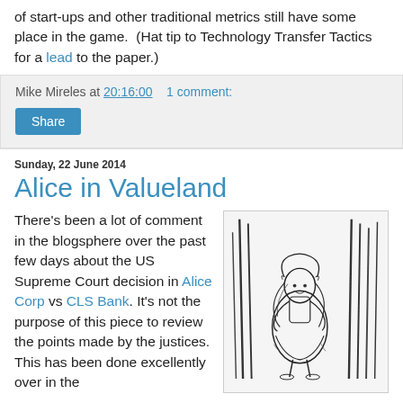of start-ups and other traditional metrics still have some place in the game.  (Hat tip to Technology Transfer Tactics for a lead to the paper.)
Mike Mireles at 20:16:00   1 comment:
Share
Sunday, 22 June 2014
Alice in Valueland
There's been a lot of comment in the blogsphere over the past few days about the US Supreme Court decision in Alice Corp vs CLS Bank. It's not the purpose of this piece to review the points made by the justices. This has been done excellently over in the
[Figure (illustration): Black and white line drawing of Alice (from Alice in Wonderland) peering around or through tall grass or reeds, in classic Victorian illustration style.]